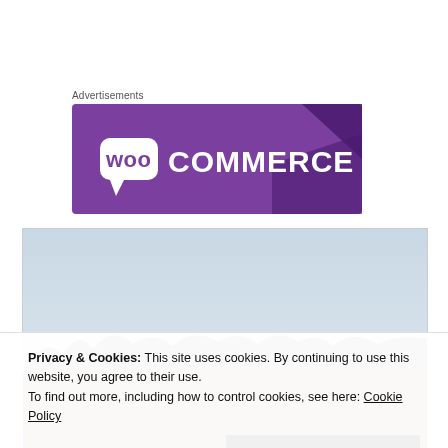Advertisements
[Figure (logo): WooCommerce logo banner — purple background with WooCommerce logo text in white]
[Figure (photo): Outdoor photo showing trees and sky with a person in the lower portion]
Privacy & Cookies: This site uses cookies. By continuing to use this website, you agree to their use.
To find out more, including how to control cookies, see here: Cookie Policy
Close and accept